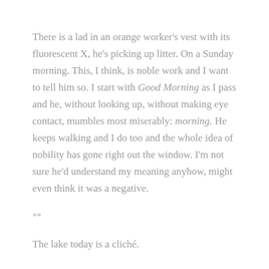There is a lad in an orange worker's vest with its fluorescent X, he's picking up litter. On a Sunday morning. This, I think, is noble work and I want to tell him so. I start with Good Morning as I pass and he, without looking up, without making eye contact, mumbles most miserably: morning. He keeps walking and I do too and the whole idea of nobility has gone right out the window. I'm not sure he'd understand my meaning anyhow, might even think it was a negative.
**
The lake today is a cliché.